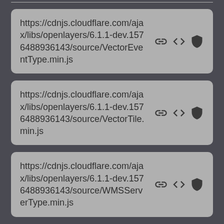https://cdnjs.cloudflare.com/ajax/libs/openlayers/6.1.1-dev.1576488936143/source/VectorEventType.min.js
https://cdnjs.cloudflare.com/ajax/libs/openlayers/6.1.1-dev.1576488936143/source/VectorTile.min.js
https://cdnjs.cloudflare.com/ajax/libs/openlayers/6.1.1-dev.1576488936143/source/WMSServerType.min.js